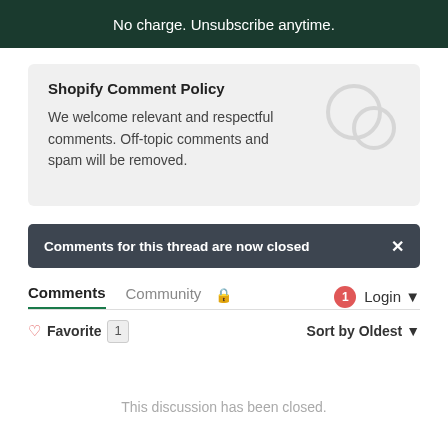No charge. Unsubscribe anytime.
Shopify Comment Policy
We welcome relevant and respectful comments. Off-topic comments and spam will be removed.
Comments for this thread are now closed
Comments   Community   🔒   1   Login ▾
♡ Favorite  1   Sort by Oldest ▾
This discussion has been closed.